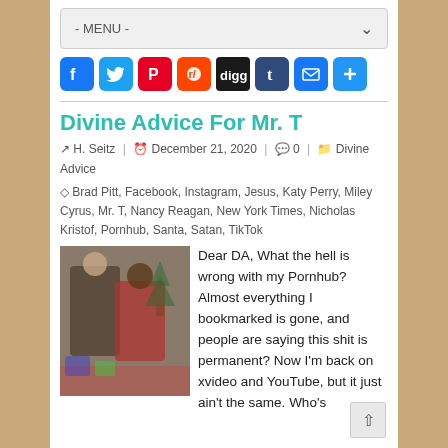- MENU -
[Figure (other): Row of social sharing icons: Facebook, Twitter, Pinterest, Reddit, Digg, Tumblr, Email, Share/Plus]
Divine Advice For Mr. T
H. Seitz | December 21, 2020 | 0 | Divine Advice | Brad Pitt, Facebook, Instagram, Jesus, Katy Perry, Miley Cyrus, Mr. T, Nancy Reagan, New York Times, Nicholas Kristof, Pornhub, Santa, Satan, TikTok
[Figure (photo): Photo of two people in a festive/Christmas setting]
Dear DA, What the hell is wrong with my Pornhub? Almost everything I bookmarked is gone, and people are saying this shit is permanent? Now I'm back on xvideo and YouTube, but it just ain't the same. Who's